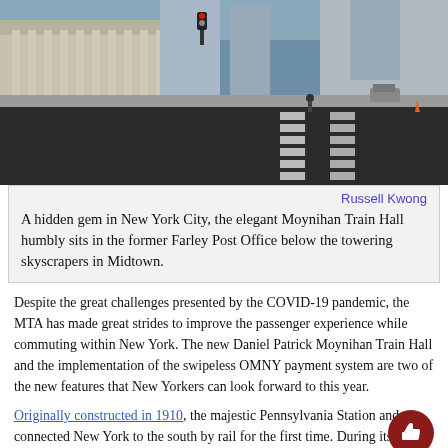[Figure (photo): Street-level view of Midtown Manhattan with the Farley Post Office building (Moynihan Train Hall) visible on the left with large columns, tall skyscrapers in the background, and a wide intersection with crosswalk markings in the foreground. The scene is taken on a clear day.]
Russell Kwong
A hidden gem in New York City, the elegant Moynihan Train Hall humbly sits in the former Farley Post Office below the towering skyscrapers in Midtown.
Despite the great challenges presented by the COVID-19 pandemic, the MTA has made great strides to improve the passenger experience while commuting within New York. The new Daniel Patrick Moynihan Train Hall and the implementation of the swipeless OMNY payment system are two of the new features that New Yorkers can look forward to this year.
Originally constructed in 1910, the majestic Pennsylvania Station and connected New York to the south by rail for the first time. During its